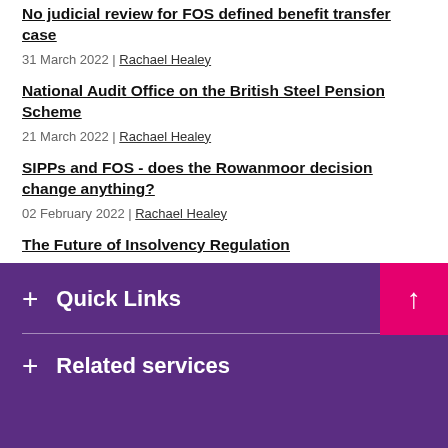No judicial review for FOS defined benefit transfer case
31 March 2022 | Rachael Healey
National Audit Office on the British Steel Pension Scheme
21 March 2022 | Rachael Healey
SIPPs and FOS - does the Rowanmoor decision change anything?
02 February 2022 | Rachael Healey
The Future of Insolvency Regulation
04 January 2022 | Rachael Healey
+ Quick Links
+ Related services